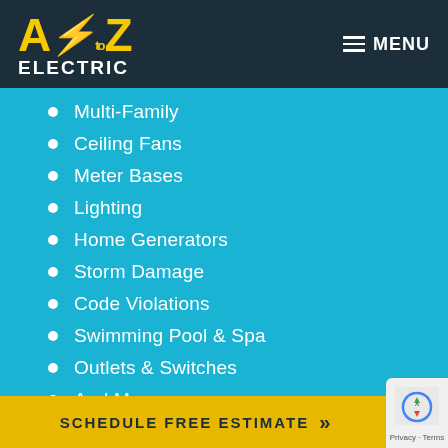[Figure (logo): A to Z Electric logo with yellow letters and lightning bolt on dark navy background, with MENU button top right]
Multi-Family
Ceiling Fans
Meter Bases
Lighting
Home Generators
Storm Damage
Code Violations
Swimming Pool & Spa
Outlets & Switches
And More…
SCHEDULE FREE ESTIMATE »